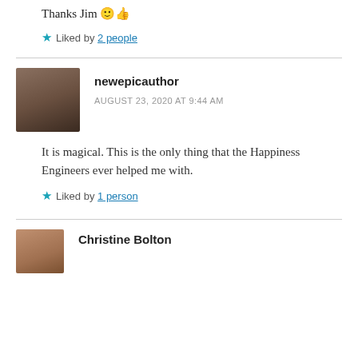Thanks Jim 🙂👍
★ Liked by 2 people
newepicauthor
AUGUST 23, 2020 AT 9:44 AM
It is magical. This is the only thing that the Happiness Engineers ever helped me with.
★ Liked by 1 person
Christine Bolton